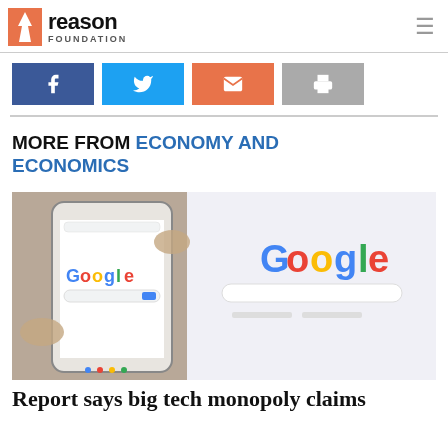Reason Foundation
[Figure (logo): Reason Foundation logo with orange torch icon, 'reason' in bold black text and 'FOUNDATION' in small caps below]
[Figure (infographic): Social sharing buttons: Facebook (blue), Twitter (light blue), Email (orange), Print (gray)]
MORE FROM ECONOMY AND ECONOMICS
[Figure (photo): A hand holding a smartphone showing the Google search homepage, with a laptop also showing Google in the background]
Report says big tech monopoly claims